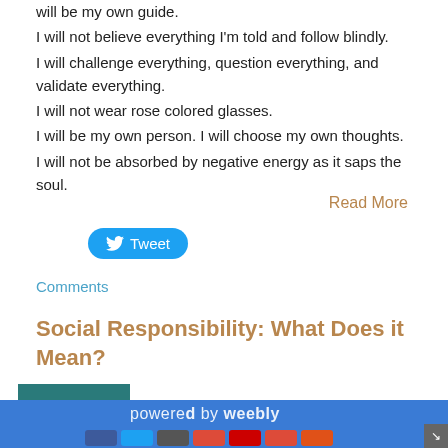will be my own guide.
I will not believe everything I'm told and follow blindly.
I will challenge everything, question everything, and validate everything.
I will not wear rose colored glasses.
I will be my own person.  I will choose my own thoughts.
I will not be absorbed by negative energy as it saps the soul.
Read More
[Figure (other): Twitter Tweet button (blue rounded rectangle with bird icon and 'Tweet' text)]
Comments
Social Responsibility: What Does it Mean?
[Figure (logo): MSASR logo: white speech bubble with teal text on dark teal background]
Comments
powered by weebly (partial, with social media icons)